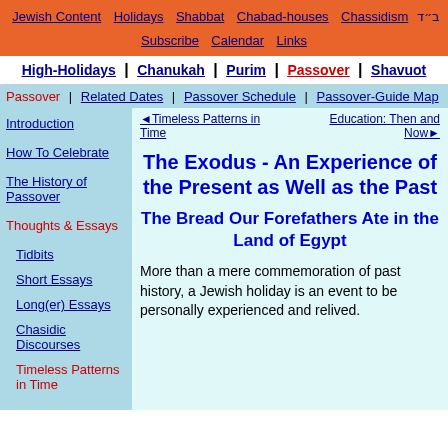Jewish Content | Holidays | Shabbat | Chabad-houses | Chassidism | ב״ד | Subscribe | Calendar | Links
High-Holidays | Chanukah | Purim | Passover | Shavuot
Passover | Related Dates | Passover Schedule | Passover-Guide Map
Introduction
How To Celebrate
The History of Passover
Thoughts & Essays
Tidbits
Short Essays
Long(er) Essays
Chasidic Discourses
Timeless Patterns in Time
◄ Timeless Patterns in Time
Education: Then and Now ►
The Exodus - An Experience of the Present as Well as the Past
The Bread Our Forefathers Ate in the Land of Egypt
More than a mere commemoration of past history, a Jewish holiday is an event to be personally experienced and relived.